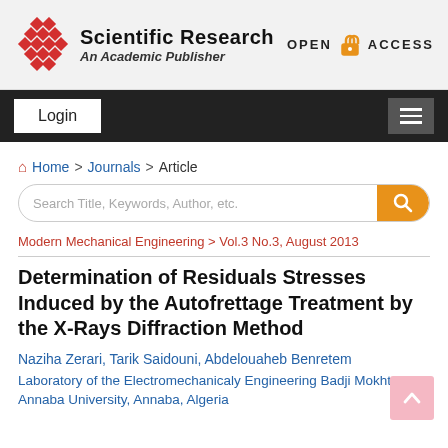Scientific Research — An Academic Publisher | OPEN ACCESS
Login
Home > Journals > Article
Search Title, Keywords, Author, etc.
Modern Mechanical Engineering > Vol.3 No.3, August 2013
Determination of Residuals Stresses Induced by the Autofrettage Treatment by the X-Rays Diffraction Method
Naziha Zerari, Tarik Saidouni, Abdelouaheb Benretem
Laboratory of the Electromechanicaly Engineering Badji Mokhtar-Annaba University, Annaba, Algeria